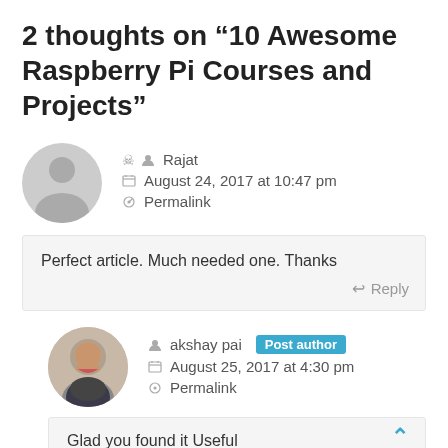2 thoughts on “10 Awesome Raspberry Pi Courses and Projects”
Rajat
August 24, 2017 at 10:47 pm
Permalink
Perfect article. Much needed one. Thanks
Reply
akshay pai Post author
August 25, 2017 at 4:30 pm
Permalink
Glad you found it Useful